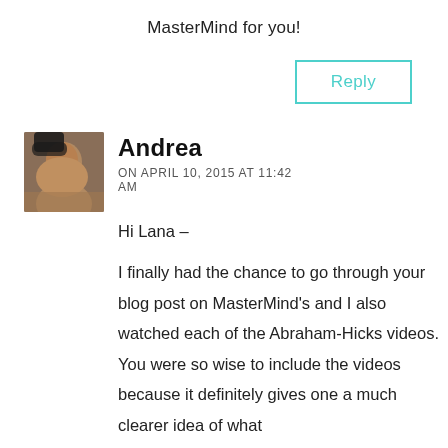MasterMind for you!
Reply
Andrea ON APRIL 10, 2015 AT 11:42 AM
Hi Lana –
I finally had the chance to go through your blog post on MasterMind's and I also watched each of the Abraham-Hicks videos. You were so wise to include the videos because it definitely gives one a much clearer idea of what